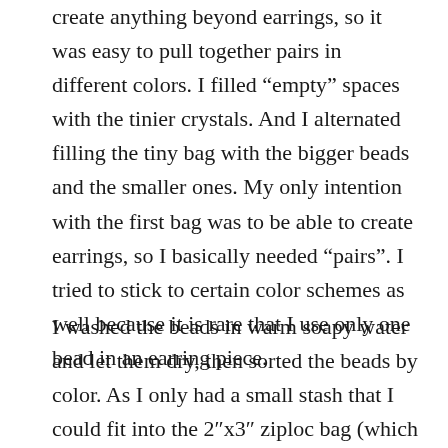create anything beyond earrings, so it was easy to pull together pairs in different colors. I filled “empty” spaces with the tinier crystals. And I alternated filling the tiny bag with the bigger beads and the smaller ones. My only intention with the first bag was to be able to create earrings, so I basically needed “pairs”. I tried to stick to certain color schemes as well because it is rare that I use only one bead in an earring piece.
I washed the beads in warm soapy water and let them dry, then sorted the beads by color. As I only had a small stash that I could fit into the 2″x3″ ziploc bag (which I had to be able to close to make the sale), there wasn’t much. I did manage to create at least 8 pairs of earrings which, if I can sell all, will help recoup the